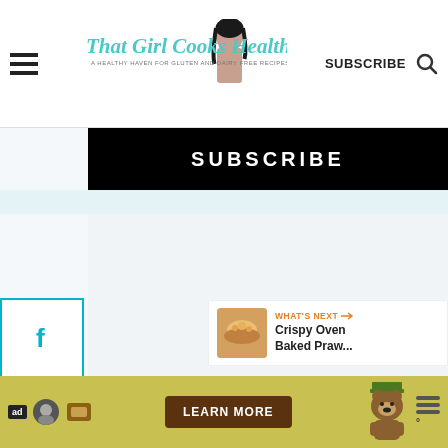[Figure (screenshot): Website header with hamburger menu, That Girl Cooks Healthy logo with woman photo, SUBSCRIBE link, and search icon]
[Figure (screenshot): Black subscribe banner with white SUBSCRIBE text]
[Figure (screenshot): Teal social media sidebar with Facebook, Twitter, and Pinterest icons]
Search
[Figure (screenshot): Search icon circle and teal heart FAB button]
[Figure (screenshot): Share FAB button]
[Figure (screenshot): What's Next panel with food thumbnail and text: Crispy Oven Baked Praw...]
[Figure (screenshot): Ad banner with Learn More button and Smokey Bear character]